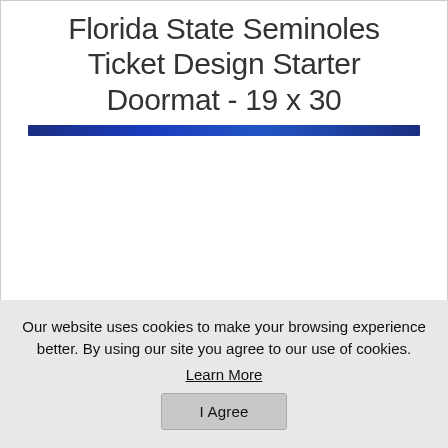Florida State Seminoles Ticket Design Starter Doormat - 19 x 30
[Figure (photo): Blue decorative bar/banner element below the title, followed by a white image area (product image area for doormat)]
Our website uses cookies to make your browsing experience better. By using our site you agree to our use of cookies.
Learn More
I Agree